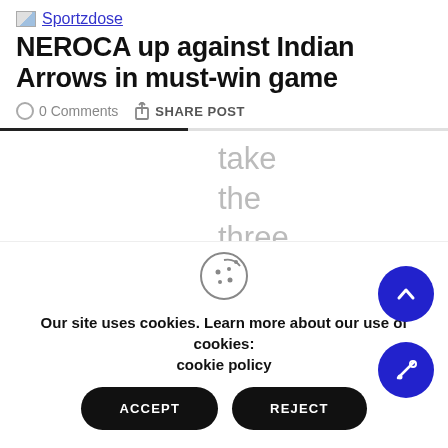Sportzdose
NEROCA up against Indian Arrows in must-win game
0 Comments  SHARE POST
take the three points. It
Our site uses cookies. Learn more about our use of cookies: cookie policy
ACCEPT
REJECT